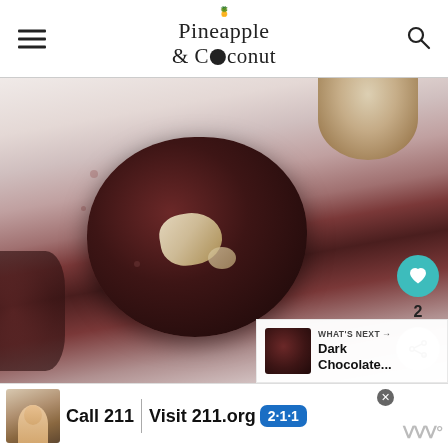Pineapple & Coconut
[Figure (photo): Close-up top-down photo of dark chocolate cookies with white chocolate chunks on a light background, with a partially visible light-colored cookie in the top right corner]
[Figure (infographic): Side action buttons: teal heart/like button, number 2 like count, and share button with plus icon]
[Figure (infographic): What's Next promotional panel showing thumbnail image and text 'Dark Chocolate...']
[Figure (infographic): Advertisement banner: Call 211 | Visit 211.org with 2-1-1 badge logo, child photo on left, close button, and Meredith logo on right]